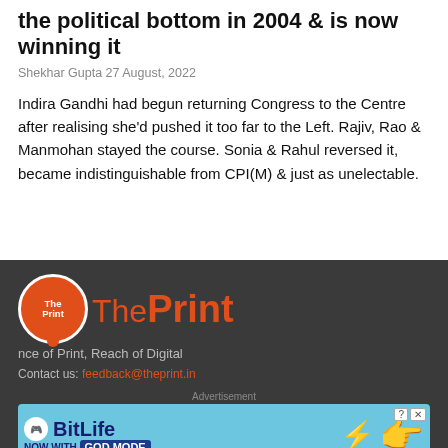the political bottom in 2004 & is now winning it
Shekhar Gupta 27 August, 2022
Indira Gandhi had begun returning Congress to the Centre after realising she'd pushed it too far to the Left. Rajiv, Rao & Manmohan stayed the course. Sonia & Rahul reversed it, became indistinguishable from CPI(M) & just as unelectable.
[Figure (logo): ThePrint logo with orange circle icon and text 'ThePrint', tagline 'nce of Print, Reach of Digital']
Contact us: feedback@theprint.in
[Figure (screenshot): Advertisement banner for BitLife with GOD MODE, showing pointing hand graphic on blue background]